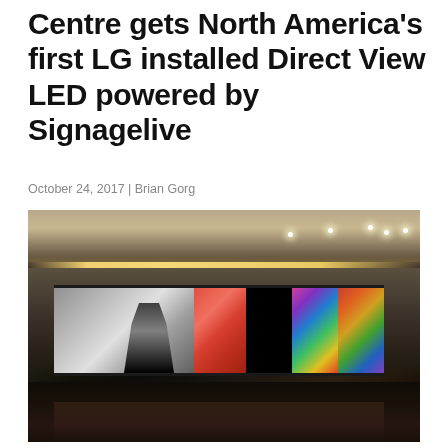Centre gets North America's first LG installed Direct View LED powered by Signagelive
October 24, 2017 | Brian Gorg
[Figure (photo): Interior photo showing a large LG Direct View LED display wall mounted in a lobby or gallery space. The widescreen LED wall displays multiple art pieces side by side, with artist names including SHIVELY, LOMBARDO, BAZZOLI, UDOUS visible as labels. The room has warm overhead lighting and a dark polished floor.]